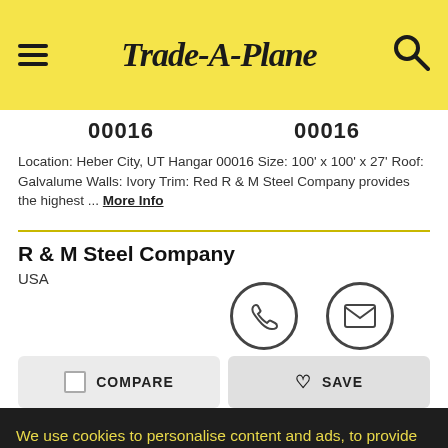Trade-A-Plane
00016   00016
Location: Heber City, UT Hangar 00016 Size: 100' x 100' x 27' Roof: Galvalume Walls: Ivory Trim: Red R & M Steel Company provides the highest ... More Info
R & M Steel Company
USA
[Figure (infographic): Phone icon circle and email/envelope icon circle]
COMPARE   SAVE
We use cookies to personalise content and ads, to provide social media features and to analyse our traffic. We also share information about your use of our site with our social media, advertising and analytics partners.
Cookie Settings   ✓ Accept Cookies